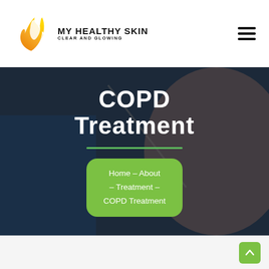[Figure (logo): My Healthy Skin logo with flame and face silhouette in orange/yellow gradient, text reading MY HEALTHY SKIN CLEAR AND GLOWING]
COPD Treatment
Home - About - Treatment - COPD Treatment